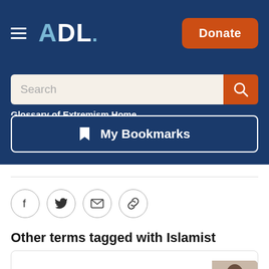ADL — Donate
Search
Glossary of Extremism Home
My Bookmarks
[Figure (infographic): Social share icons: Facebook, Twitter, Email, Link]
Other terms tagged with Islamist
Colleyville Synagogu...